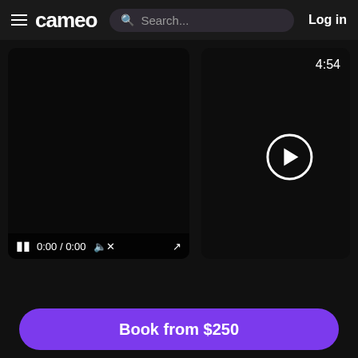cameo — Search... Log in
[Figure (screenshot): Dark video player showing paused video with controls: pause button, 0:00 / 0:00 time, mute icon, fullscreen icon]
[Figure (screenshot): Dark video thumbnail with play button circle and 4:54 duration timer in top right]
★★★★★ Wedding
"Thank you so much Captain Lee – I watched your video this morning..."
Book from $250